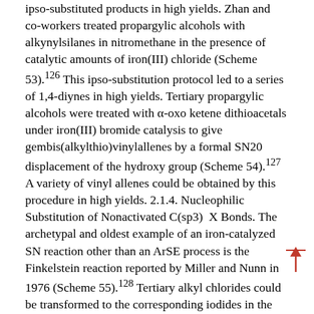ipso-substituted products in high yields. Zhan and co-workers treated propargylic alcohols with alkynylsilanes in nitromethane in the presence of catalytic amounts of iron(III) chloride (Scheme 53).126 This ipso-substitution protocol led to a series of 1,4-diynes in high yields. Tertiary propargylic alcohols were treated with α-oxo ketene dithioacetals under iron(III) bromide catalysis to give gembis(alkylthio)vinylallenes by a formal SN20 displacement of the hydroxy group (Scheme 54).127 A variety of vinyl allenes could be obtained by this procedure in high yields. 2.1.4. Nucleophilic Substitution of Nonactivated C(sp3)  X Bonds. The archetypal and oldest example of an iron-catalyzed SN reaction other than an ArSE process is the Finkelstein reaction reported by Miller and Nunn in 1976 (Scheme 55).128 Tertiary alkyl chlorides could be transformed to the corresponding iodides in the presence of sodium iodide
and catalytic amounts of iron(III) chloride. The latter assists the removal of the leaving group by its Lewis acid activity. The reaction proceeds in carbon disulfide at room temperature. Suitable substrates include also benzyl and acyl chlorides. Catalyst loadings of 1.9  7.7 mol % were